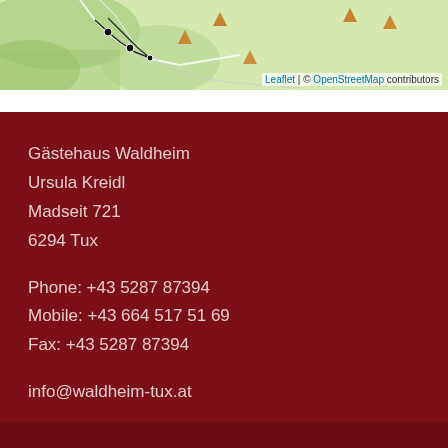[Figure (map): Top portion of an interactive map showing terrain with roads, location markers (orange triangles and black dots), and a map attribution line. The map shows a green/beige landscape with route lines.]
Gästehaus Waldheim
Ursula Kreidl
Madseit 721
6294 Tux
Phone: +43 5287 87394
Mobile: +43 664 517 51 69
Fax: +43 5287 87394
info@waldheim-tux.at
Copyright 2022 | Site notice | Privacy Policy